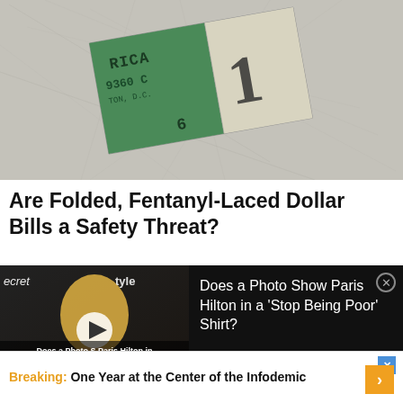[Figure (photo): Close-up photo of a folded US dollar bill on a scratched gray surface. The bill shows partial text 'RICA', serial number '9360 C', 'TON, D.C.', and the numeral '1' on the right side with the number '6' below.]
Are Folded, Fentanyl-Laced Dollar Bills a Safety Threat?
[Figure (screenshot): Video thumbnail showing a woman (Paris Hilton) with brands 'ecret' and 'Style' visible, with a play button overlay. Text overlay reads: "Does a Photo Show Paris Hilton in a 'Stop Being Poor' Shirt?"]
Does a Photo Show Paris Hilton in a ‘Stop Being Poor’ Shirt?
Breaking: One Year at the Center of the Infodemic